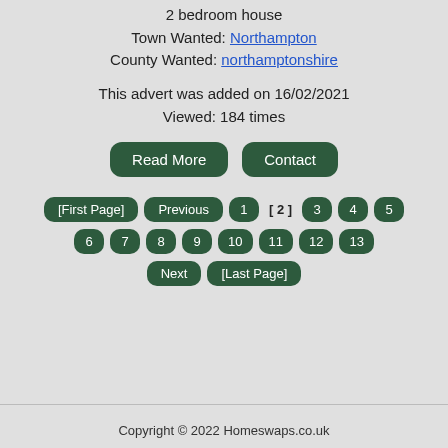2 bedroom house
Town Wanted: Northampton
County Wanted: northamptonshire
This advert was added on 16/02/2021
Viewed: 184 times
Read More  Contact
[First Page]  Previous  1  [ 2 ]  3  4  5  6  7  8  9  10  11  12  13  Next  [Last Page]
Copyright © 2022 Homeswaps.co.uk